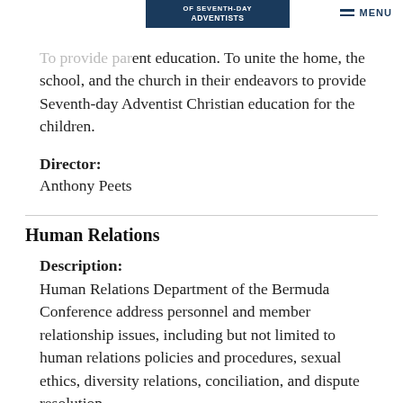OF SEVENTH-DAY ADVENTISTS
To provide parent education. To unite the home, the school, and the church in their endeavors to provide Seventh-day Adventist Christian education for the children.
Director:
Anthony Peets
Human Relations
Description:
Human Relations Department of the Bermuda Conference address personnel and member relationship issues, including but not limited to human relations policies and procedures, sexual ethics, diversity relations, conciliation, and dispute resolution.
Director: